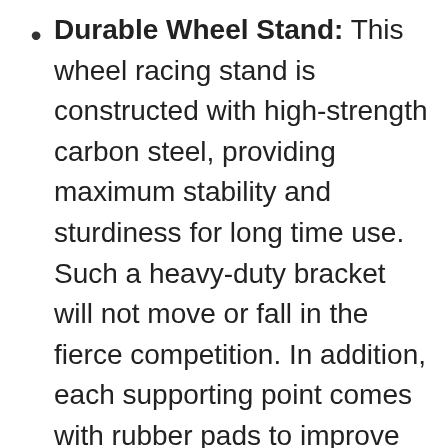Durable Wheel Stand: This wheel racing stand is constructed with high-strength carbon steel, providing maximum stability and sturdiness for long time use. Such a heavy-duty bracket will not move or fall in the fierce competition. In addition, each supporting point comes with rubber pads to improve security.
Foldable & Compact: After enjoying the game, you can easily fold this racing wheel stand and store it under your couch/bed or in the